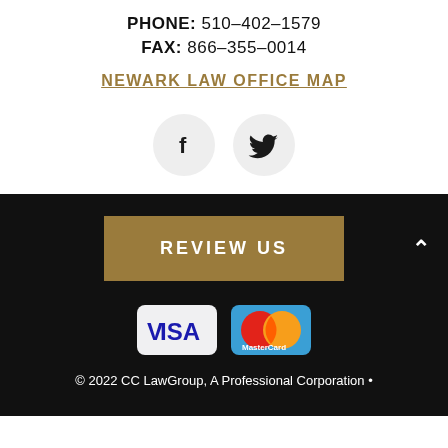PHONE: 510-402-1579
FAX: 866-355-0014
NEWARK LAW OFFICE MAP
[Figure (illustration): Facebook and Twitter social media icons as circular grey buttons]
REVIEW US
[Figure (illustration): Visa and MasterCard payment method logos]
© 2022 CC LawGroup, A Professional Corporation •